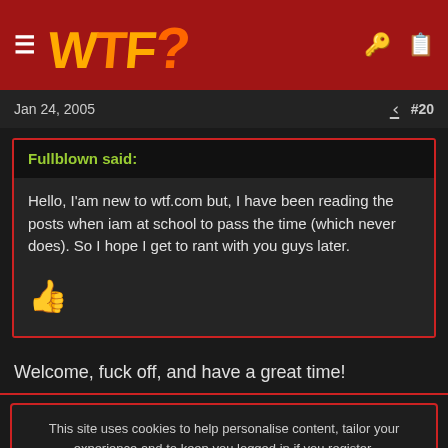WTF?
Jan 24, 2005   #20
Fullblown said:
Hello, I'am new to wtf.com but, I have been reading the posts when iam at school to pass the time (which never does). So I hope I get to rant with you guys later. 👍
Welcome, fuck off, and have a great time!
This site uses cookies to help personalise content, tailor your experience and to keep you logged in if you register.
By continuing to use this site, you are consenting to our use of cookies.